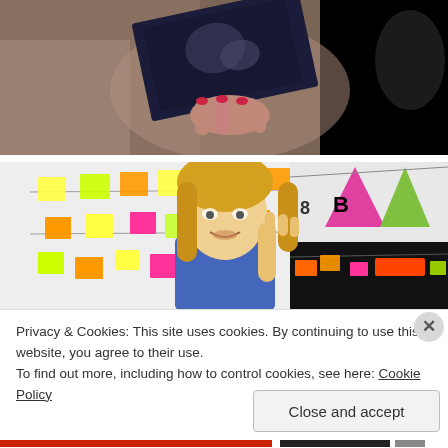[Figure (photo): Close-up photo of a person holding up an ultrasound/x-ray image. Dark background on right side, brownish/fuzzy texture on left. A hand with painted nails is visible holding the image.]
[Figure (photo): Photo of a young blonde woman speaking or presenting in front of a wall covered in colorful sticky notes (yellow, green, orange, pink). On the right side, triangular bunting decorations in pink and green are visible against a dark background.]
Privacy & Cookies: This site uses cookies. By continuing to use this website, you agree to their use.
To find out more, including how to control cookies, see here: Cookie Policy
Close and accept